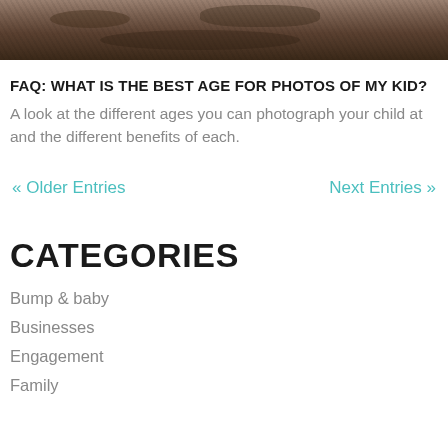[Figure (photo): Close-up photo of dirt/soil texture, brown and dark tones, partial view at top of page]
FAQ: WHAT IS THE BEST AGE FOR PHOTOS OF MY KID?
A look at the different ages you can photograph your child at and the different benefits of each.
« Older Entries    Next Entries »
CATEGORIES
Bump & baby
Businesses
Engagement
Family